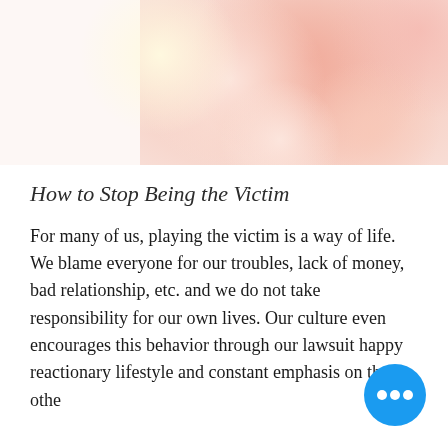[Figure (photo): Soft bokeh background image with warm pink, peach, and light yellow circular blurred lights against a light background]
How to Stop Being the Victim
For many of us, playing the victim is a way of life. We blame everyone for our troubles, lack of money, bad relationship, etc. and we do not take responsibility for our own lives. Our culture even encourages this behavior through our lawsuit happy reactionary lifestyle and constant emphasis on the other...